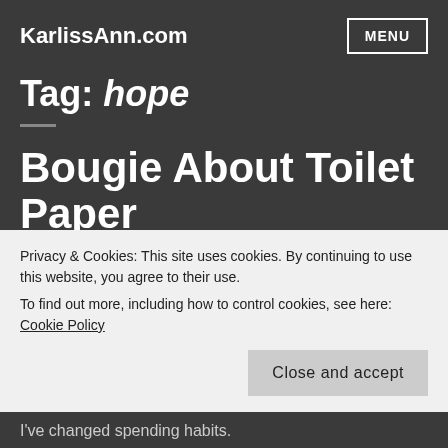KarlissAnn.com | MENU
Tag: hope
Bougie About Toilet Paper
Thoughts
Privacy & Cookies: This site uses cookies. By continuing to use this website, you agree to their use.
To find out more, including how to control cookies, see here: Cookie Policy
Close and accept
I've changed spending habits.